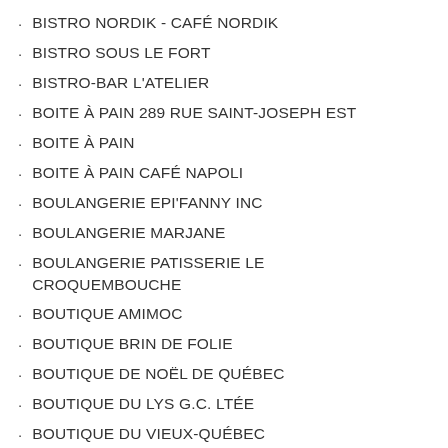BISTRO NORDIK - CAFÉ NORDIK
BISTRO SOUS LE FORT
BISTRO-BAR L'ATELIER
BOITE À PAIN 289 RUE SAINT-JOSEPH EST
BOITE À PAIN
BOITE À PAIN CAFÉ NAPOLI
BOULANGERIE EPI'FANNY INC
BOULANGERIE MARJANE
BOULANGERIE PATISSERIE LE CROQUEMBOUCHE
BOUTIQUE AMIMOC
BOUTIQUE BRIN DE FOLIE
BOUTIQUE DE NOËL DE QUÉBEC
BOUTIQUE DU LYS G.C. LTÉE
BOUTIQUE DU VIEUX-QUÉBEC
BOUTIQUE EXIL
BOUTIQUE FLORIN